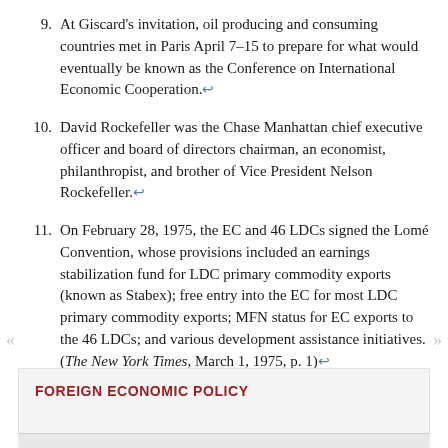9. At Giscard's invitation, oil producing and consuming countries met in Paris April 7–15 to prepare for what would eventually be known as the Conference on International Economic Cooperation.↩
10. David Rockefeller was the Chase Manhattan chief executive officer and board of directors chairman, an economist, philanthropist, and brother of Vice President Nelson Rockefeller.↩
11. On February 28, 1975, the EC and 46 LDCs signed the Lomé Convention, whose provisions included an earnings stabilization fund for LDC primary commodity exports (known as Stabex); free entry into the EC for most LDC primary commodity exports; MFN status for EC exports to the 46 LDCs; and various development assistance initiatives. (The New York Times, March 1, 1975, p. 1)↩
FOREIGN ECONOMIC POLICY